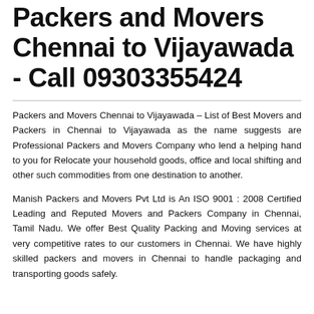Packers and Movers Chennai to Vijayawada - Call 09303355424
Packers and Movers Chennai to Vijayawada – List of Best Movers and Packers in Chennai to Vijayawada as the name suggests are Professional Packers and Movers Company who lend a helping hand to you for Relocate your household goods, office and local shifting and other such commodities from one destination to another.
Manish Packers and Movers Pvt Ltd is An ISO 9001 : 2008 Certified Leading and Reputed Movers and Packers Company in Chennai, Tamil Nadu. We offer Best Quality Packing and Moving services at very competitive rates to our customers in Chennai. We have highly skilled packers and movers in Chennai to handle packaging and transporting goods safely.